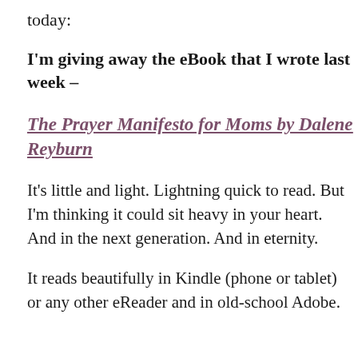today:
I'm giving away the eBook that I wrote last week –
The Prayer Manifesto for Moms by Dalene Reyburn
It's little and light. Lightning quick to read. But I'm thinking it could sit heavy in your heart. And in the next generation. And in eternity.
It reads beautifully in Kindle (phone or tablet) or any other eReader and in old-school Adobe.